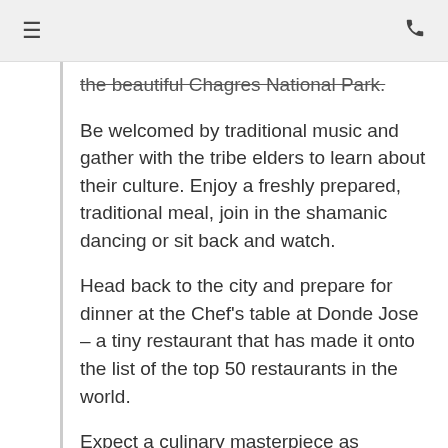the beautiful Chagres National Park.
Be welcomed by traditional music and gather with the tribe elders to learn about their culture. Enjoy a freshly prepared, traditional meal, join in the shamanic dancing or sit back and watch.
Head back to the city and prepare for dinner at the Chef's table at Donde Jose – a tiny restaurant that has made it onto the list of the top 50 restaurants in the world.
Expect a culinary masterpiece as Cordon-Bleu trained chef Jose Carlos explains the inspiration and design of each dish as he unravels his story of Panamanian food.